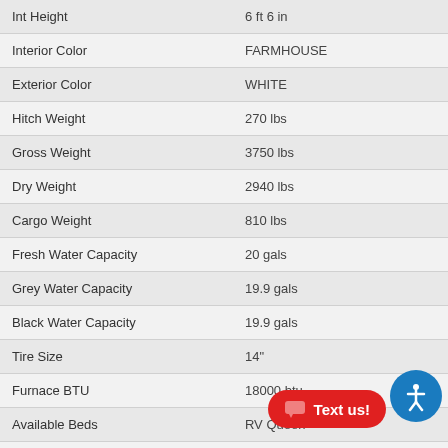| Specification | Value |
| --- | --- |
| Int Height | 6 ft 6 in |
| Interior Color | FARMHOUSE |
| Exterior Color | WHITE |
| Hitch Weight | 270 lbs |
| Gross Weight | 3750 lbs |
| Dry Weight | 2940 lbs |
| Cargo Weight | 810 lbs |
| Fresh Water Capacity | 20 gals |
| Grey Water Capacity | 19.9 gals |
| Black Water Capacity | 19.9 gals |
| Tire Size | 14" |
| Furnace BTU | 18000 btu |
| Available Beds | RV Queen |
| Refrigerator Size | 3 cu ft |
| Cooktop Burners | 2 |
| Number of Awnings | 1 |
| LP Tank Capacity | 20 lbs |
| Water Heater Capacity | 6 gal |